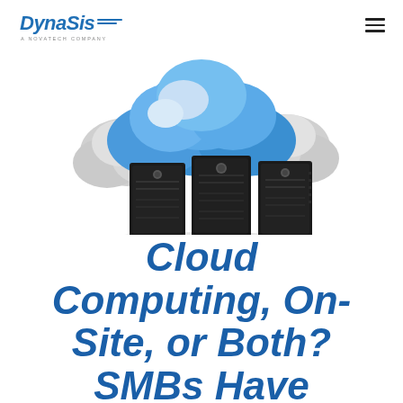DynaSis A NOVATECH COMPANY
[Figure (illustration): 3D illustration of three black server towers in front of blue and white clouds, representing cloud computing and on-site server infrastructure.]
Cloud Computing, On-Site, or Both? SMBs Have Choices